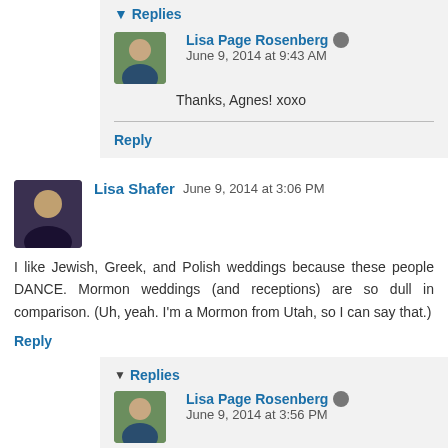Replies
Lisa Page Rosenberg  June 9, 2014 at 9:43 AM
Thanks, Agnes! xoxo
Reply
Lisa Shafer  June 9, 2014 at 3:06 PM
I like Jewish, Greek, and Polish weddings because these people DANCE. Mormon weddings (and receptions) are so dull in comparison. (Uh, yeah. I'm a Mormon from Utah, so I can say that.)
Reply
Replies
Lisa Page Rosenberg  June 9, 2014 at 3:56 PM
Lisa - Come on out and Jew it up with us any